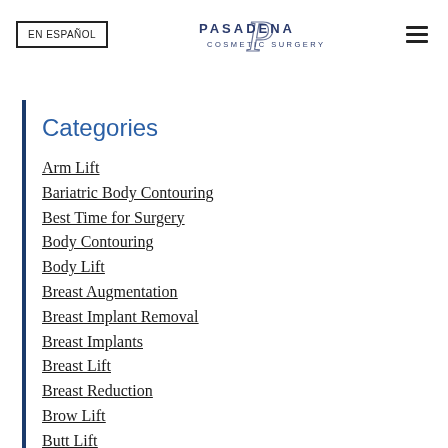EN ESPAÑOL | PASADENA COSMETIC SURGERY
Categories
Arm Lift
Bariatric Body Contouring
Best Time for Surgery
Body Contouring
Body Lift
Breast Augmentation
Breast Implant Removal
Breast Implants
Breast Lift
Breast Reduction
Brow Lift
Butt Lift